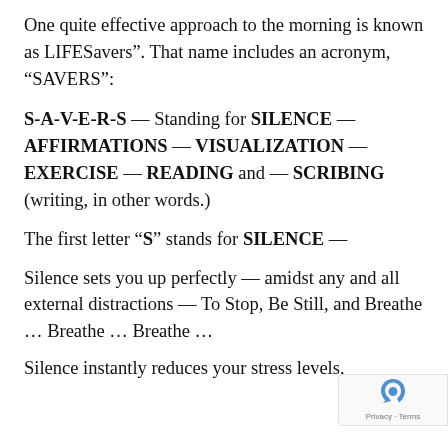One quite effective approach to the morning is known as LIFESavers". That name includes an acronym, “SAVERS”:
S-A-V-E-R-S — Standing for SILENCE — AFFIRMATIONS — VISUALIZATION — EXERCISE — READING and — SCRIBING (writing, in other words.)
The first letter “S” stands for SILENCE —
Silence sets you up perfectly — amidst any and all external distractions — To Stop, Be Still, and Breathe … Breathe … Breathe …
Silence instantly reduces your stress levels,